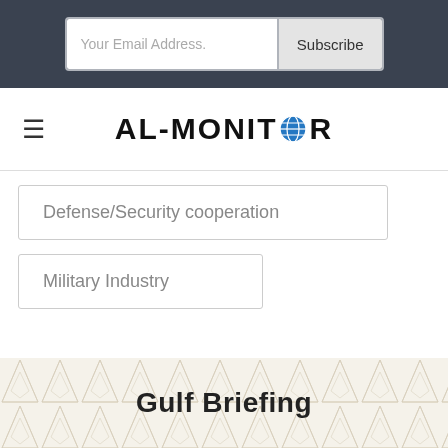[Figure (screenshot): Email subscription bar with input field 'Your Email Address.' and 'Subscribe' button on dark background]
[Figure (logo): AL-MONITOR logo with globe icon replacing the O, with hamburger menu icon on left]
Defense/Security cooperation
Military Industry
Gulf Briefing